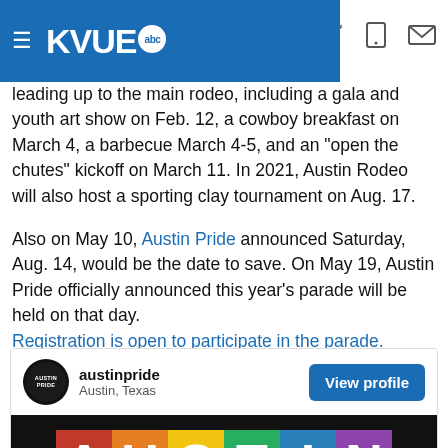KVUE abc
leading up to the main rodeo, including a gala and youth art show on Feb. 12, a cowboy breakfast on March 4, a barbecue March 4-5, and an "open the chutes" kickoff on March 11. In 2021, Austin Rodeo will also host a sporting clay tournament on Aug. 17.
Also on May 10, Austin Pride announced Saturday, Aug. 14, would be the date to save. On May 19, Austin Pride officially announced this year's parade will be held on that day. Registration is open to participate in the parade.
[Figure (screenshot): Austin Pride Instagram embed card showing austinpride account from Austin, Texas with View profile button and Austin Pride rainbow logo image below]